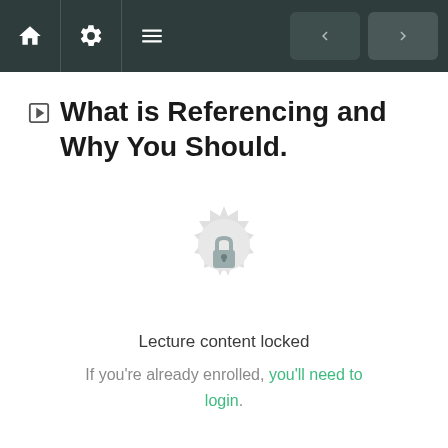Navigation bar with home, settings, menu icons and back/forward navigation buttons
What is Referencing and Why You Should.
[Figure (illustration): A locked padlock icon centered within a decorative circular badge/seal in light gray, indicating locked content.]
Lecture content locked
If you're already enrolled, you'll need to login.